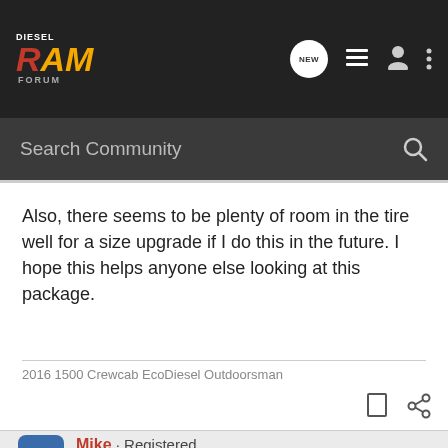DIESEL RAM FORUM
Also, there seems to be plenty of room in the tire well for a size upgrade if I do this in the future. I hope this helps anyone else looking at this package.
2016 1500 Crewcab EcoDiesel Outdoorsman
Mike · Registered
Joined Feb 12, 2016 · 18 Posts
#4 · Mar 17, 2016